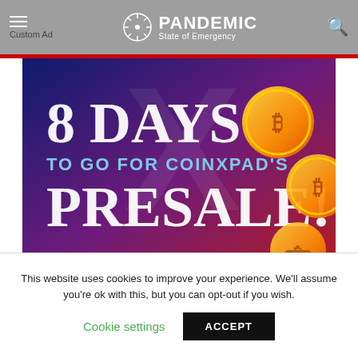Custom Ad | PANDEMIC State of Emergency
[Figure (illustration): Advertisement banner: '8 DAYS TO GO FOR COINXPAD'S PRESALE!' with gold coins on a blue/purple/red gradient background]
TEAM DAILY TRIBUNE – SEPTEMBER 17, 2021
CoinxPad Presale to Kick off on September 25th
This website uses cookies to improve your experience. We'll assume you're ok with this, but you can opt-out if you wish.
Cookie settings   ACCEPT